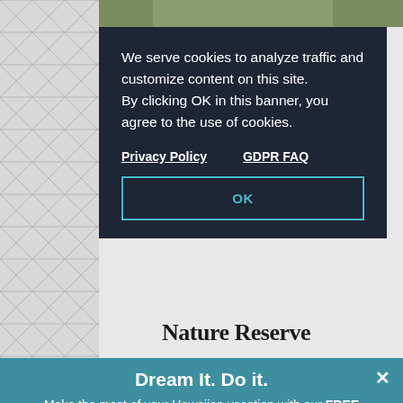[Figure (screenshot): Screenshot of a website page showing a cookie consent banner overlay on top of a Nature Reserve page, with a second promotional banner at the bottom. The background shows a triangular pattern on the left. Cookie banner text: 'We serve cookies to analyze traffic and customize content on this site. By clicking OK in this banner, you agree to the use of cookies.' Links: Privacy Policy, GDPR FAQ. Button: OK. Below the cookie banner is a 'Nature Reserve' heading. At the bottom is a teal 'Dream It. Do it.' promotional banner with text and LET'S GO button.]
We serve cookies to analyze traffic and customize content on this site. By clicking OK in this banner, you agree to the use of cookies.
Privacy Policy   GDPR FAQ
OK
Nature Reserve
Dream It. Do it.
Make the most of your Hawaiian vacation with our FREE Official Visitors' Guide.
LET'S GO